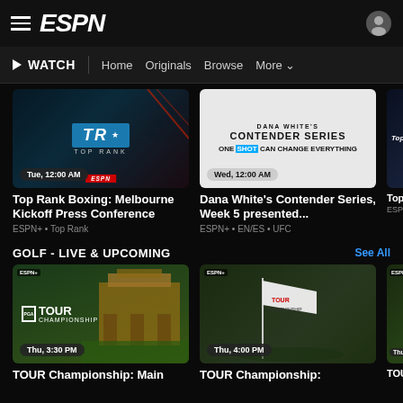ESPN - WATCH | Home | Originals | Browse | More
[Figure (screenshot): Top Rank Boxing thumbnail with TR logo on dark background, time badge: Tue, 12:00 AM]
Top Rank Boxing: Melbourne Kickoff Press Conference
ESPN+ • Top Rank
[Figure (screenshot): Dana White's Contender Series thumbnail with white background and bold text, time badge: Wed, 12:00 AM]
Dana White's Contender Series, Week 5 presented...
ESPN+ • EN/ES • UFC
GOLF - LIVE & UPCOMING
See All
[Figure (screenshot): TOUR Championship main card thumbnail with building and green, time badge: Thu, 3:30 PM]
TOUR Championship: Main
[Figure (screenshot): TOUR Championship thumbnail with golf flag on course, time badge: Thu, 4:00 PM]
TOUR Championship: